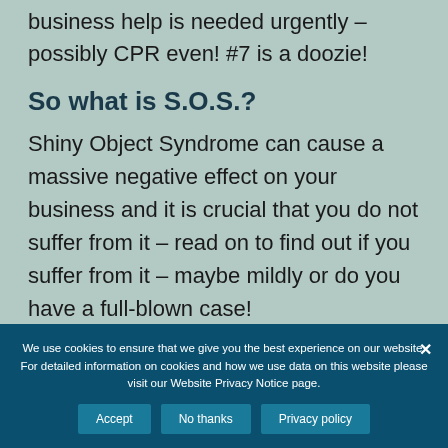and Shiny Object Syndrome. This often means business help is needed urgently – possibly CPR even! #7 is a doozie!
So what is S.O.S.?
Shiny Object Syndrome can cause a massive negative effect on your business and it is crucial that you do not suffer from it – read on to find out if you suffer from it – maybe mildly or do you have a full-blown case!
We use cookies to ensure that we give you the best experience on our website. For detailed information on cookies and how we use data on this website please visit our Website Privacy Notice page.
Accept   No thanks   Privacy policy